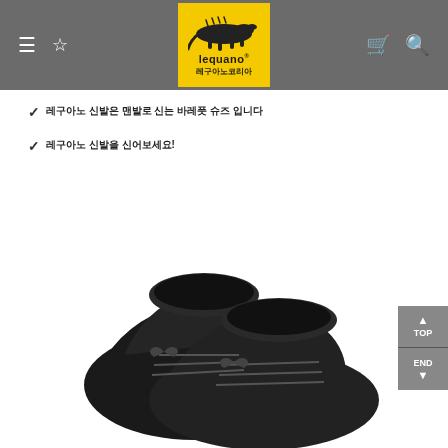Lequano Korea navigation bar with logo, menu, wishlist, cart, and search icons
✓ 레구아노 신발은 맨발로 신는 바레풋 슈즈 입니다
✓ 레구아노 신발을 신어보세요!
[Figure (photo): Pair of black lace-up suede shoes photographed from above on white background]